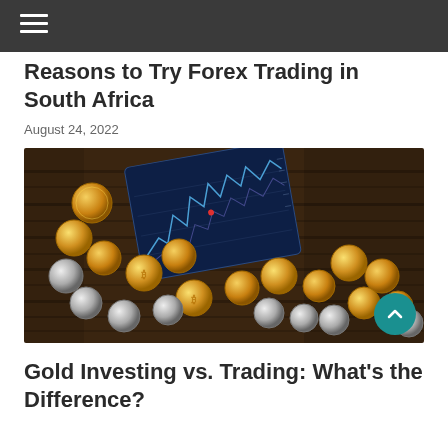Reasons to Try Forex Trading in South Africa
August 24, 2022
[Figure (photo): Photo of gold and silver coins scattered on a dark wooden table surface, with a dark blue card showing a financial/forex price chart in the background]
Gold Investing vs. Trading: What’s the Difference?